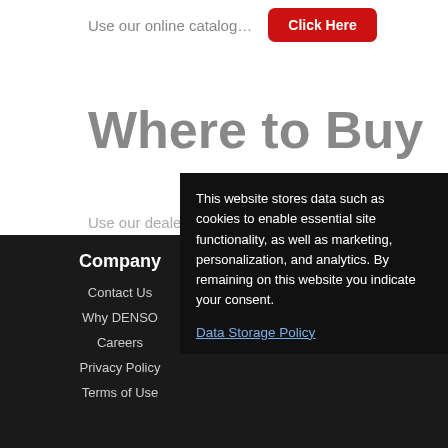Use our online catalog…
Click Here
Where to Buy
Use our dealer locator…
Click Here
Company
Contact Us
Why DENSO
Careers
Privacy Policy
Terms of Use
This website stores data such as cookies to enable essential site functionality, as well as marketing, personalization, and analytics. By remaining on this website you indicate your consent.
Data Storage Policy